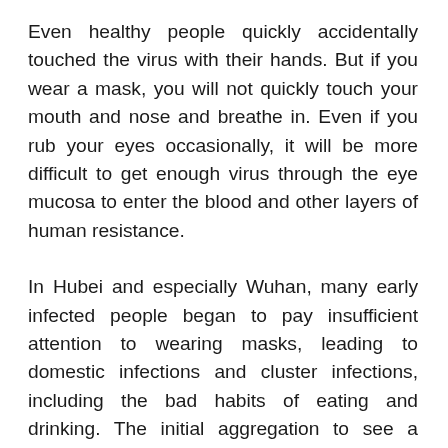Even healthy people quickly accidentally touched the virus with their hands. But if you wear a mask, you will not quickly touch your mouth and nose and breathe in. Even if you rub your eyes occasionally, it will be more difficult to get enough virus through the eye mucosa to enter the blood and other layers of human resistance.
In Hubei and especially Wuhan, many early infected people began to pay insufficient attention to wearing masks, leading to domestic infections and cluster infections, including the bad habits of eating and drinking. The initial aggregation to see a doctor without a mask is also the reason for the increase in infection. In the early days, many doctors did not provide protection or even received a doctor